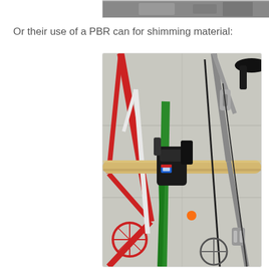[Figure (photo): Partial top image strip showing a cropped photo, cut off at the top of the page]
Or their use of a PBR can for shimming material:
[Figure (photo): Close-up photograph of bicycles leaning against a wall or rack. A wooden dowel or broomstick is used as a crossbar, held in place by a black stem clamp on a green bicycle. A red bicycle frame and a gray/silver bicycle are also visible. A PBR (Pabst Blue Ribbon) beer can is visible being used as a shim in the stem clamp area.]